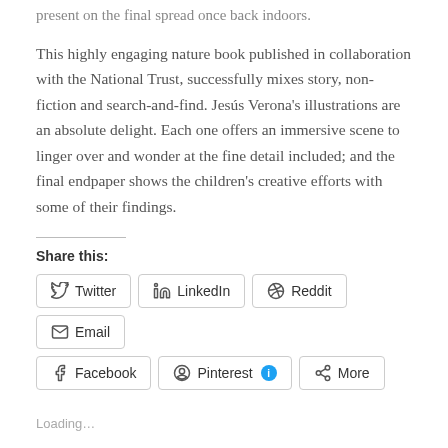present on the final spread once back indoors.
This highly engaging nature book published in collaboration with the National Trust, successfully mixes story, non-fiction and search-and-find. Jesús Verona's illustrations are an absolute delight. Each one offers an immersive scene to linger over and wonder at the fine detail included; and the final endpaper shows the children's creative efforts with some of their findings.
Share this:
Twitter
LinkedIn
Reddit
Email
Facebook
Pinterest
More
Loading...